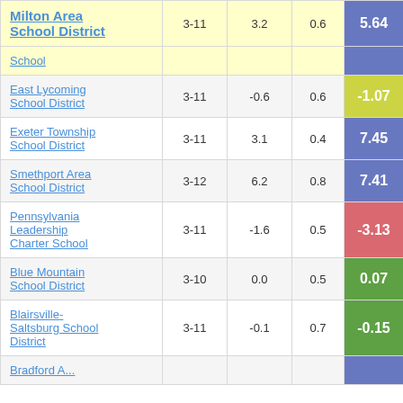| Milton Area School District | 3-11 | 3.2 | 0.6 | 5.64 |
| School |  |  |  |  |
| East Lycoming School District | 3-11 | -0.6 | 0.6 | -1.07 |
| Exeter Township School District | 3-11 | 3.1 | 0.4 | 7.45 |
| Smethport Area School District | 3-12 | 6.2 | 0.8 | 7.41 |
| Pennsylvania Leadership Charter School | 3-11 | -1.6 | 0.5 | -3.13 |
| Blue Mountain School District | 3-10 | 0.0 | 0.5 | 0.07 |
| Blairsville-Saltsburg School District | 3-11 | -0.1 | 0.7 | -0.15 |
| Bradford Area... |  |  |  |  |